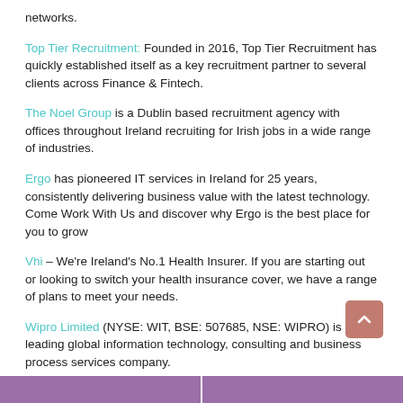networks.
Top Tier Recruitment: Founded in 2016, Top Tier Recruitment has quickly established itself as a key recruitment partner to several clients across Finance & Fintech.
The Noel Group is a Dublin based recruitment agency with offices throughout Ireland recruiting for Irish jobs in a wide range of industries.
Ergo has pioneered IT services in Ireland for 25 years, consistently delivering business value with the latest technology. Come Work With Us and discover why Ergo is the best place for you to grow
Vhi – We're Ireland's No.1 Health Insurer. If you are starting out or looking to switch your health insurance cover, we have a range of plans to meet your needs.
Wipro Limited (NYSE: WIT, BSE: 507685, NSE: WIPRO) is a leading global information technology, consulting and business process services company.